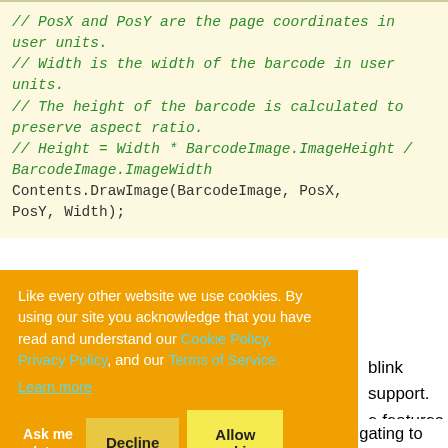// PosX and PosY are the page coordinates in user units.
// Width is the width of the barcode in user units.
// The height of the barcode is calculated to preserve aspect ratio.
// Height = Width * BarcodeImage.ImageHeight / BarcodeImage.ImageWidth
Contents.DrawImage(BarcodeImage, PosX, PosY, Width);
Like every other website we use cookies. By using our site you acknowledge that you have read and understand our Cookie Policy, Privacy Policy, and our Terms of Service. Learn more
blink support. e features n Section 8 of annotation link with an area e area, the PDF
reader will activate the default web browser navigating to